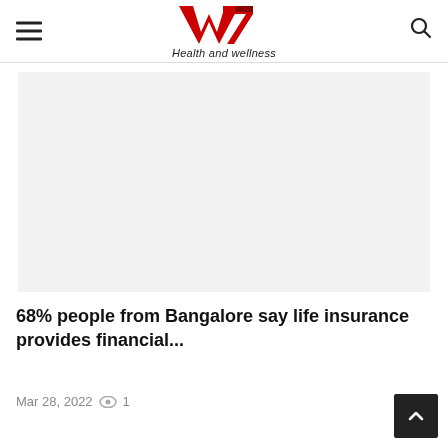W7 Health and wellness
[Figure (photo): Light gray rectangular image placeholder area for an article image]
68% people from Bangalore say life insurance provides financial...
Mar 28, 2022  1